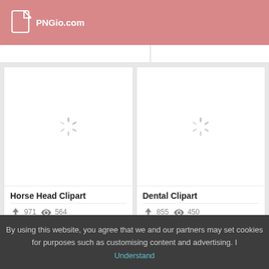PNGio.com
[Figure (screenshot): Loading spinner icon for Horse Head Clipart card]
Horse Head Clipart
971 downloads, 564 views
[Figure (screenshot): Loading spinner icon for Dental Clipart card]
Dental Clipart
855 downloads, 450 views
By using this website, you agree that we and our partners may set cookies for purposes such as customising content and advertising. I Understand